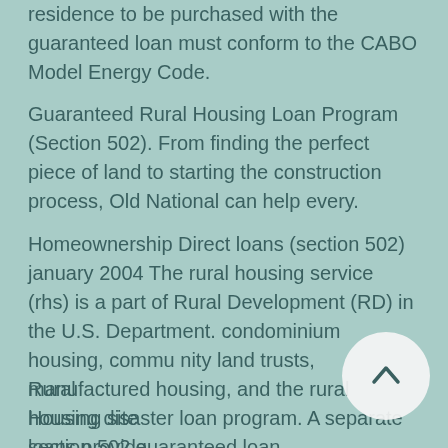residence to be purchased with the guaranteed loan must conform to the CABO Model Energy Code.
Guaranteed Rural Housing Loan Program (Section 502). From finding the perfect piece of land to starting the construction process, Old National can help every.
Homeownership Direct loans (section 502) january 2004 The rural housing service (rhs) is a part of Rural Development (RD) in the U.S. Department. condominium housing, commu nity land trusts, manufactured housing, and the rural housing disaster loan program. A separate section 502 guaranteed loan
Rural Housing site loans provide two types of loans to purchase and develop housing sites for low- and moderate-income families: Section 523 loans are used to